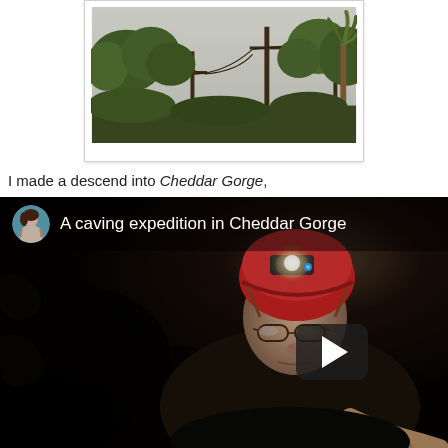[Figure (photo): Polaroid-style framed photo showing trees, power lines and a palm tree viewed from below against a bright sky, with warm/vintage tones]
I made a descend into Cheddar Gorge,
[Figure (screenshot): Embedded video thumbnail for 'A caving expedition in Cheddar Gorge' showing a man wearing a red caving helmet with headlamp in a dark cave, with a YouTube-style play button overlay and avatar/title bar at top. The avatar shows a woman.]